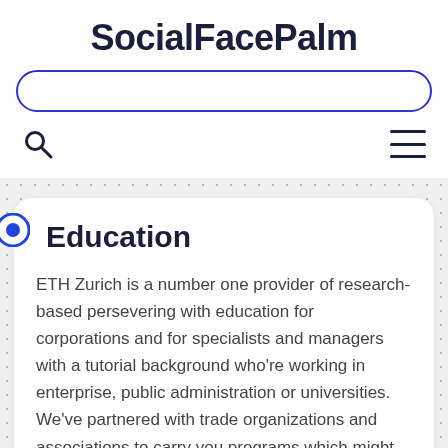SocialFacePalm
Education
ETH Zurich is a number one provider of research-based persevering with education for corporations and for specialists and managers with a tutorial background who're working in enterprise, public administration or universities. We've partnered with trade organizations and associations to carry you programs which might be supplied by way of part-time examine, with versatile class times and supply codecs. The 12 months is 2016